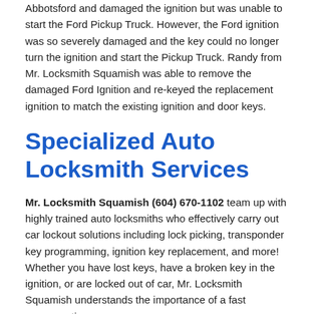Abbotsford and damaged the ignition but was unable to start the Ford Pickup Truck. However, the Ford ignition was so severely damaged and the key could no longer turn the ignition and start the Pickup Truck. Randy from Mr. Locksmith Squamish was able to remove the damaged Ford Ignition and re-keyed the replacement ignition to match the existing ignition and door keys.
Specialized Auto Locksmith Services
Mr. Locksmith Squamish (604) 670-1102 team up with highly trained auto locksmiths who effectively carry out car lockout solutions including lock picking, transponder key programming, ignition key replacement, and more! Whether you have lost keys, have a broken key in the ignition, or are locked out of car, Mr. Locksmith Squamish understands the importance of a fast response time.
With technicians available across multiple locations, an expert locksmith can arrive at your location within 30 minutes of your call! Auto locksmiths can work on a wide range of car brands,